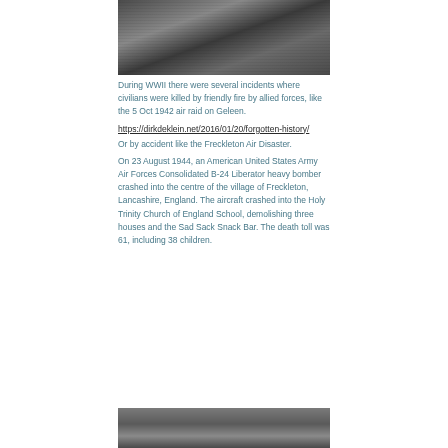[Figure (photo): Black and white photograph of people, appears to be WWII era scene with soldiers and civilians]
During WWII there were several incidents where civilians were killed by friendly fire by allied forces, like the 5 Oct 1942 air raid on Geleen. https://dirkdeklein.net/2016/01/20/forgotten-history/ Or by accident like the Freckleton Air Disaster. On 23 August 1944, an American United States Army Air Forces Consolidated B-24 Liberator heavy bomber crashed into the centre of the village of Freckleton, Lancashire, England. The aircraft crashed into the Holy Trinity Church of England School, demolishing three houses and the Sad Sack Snack Bar. The death toll was 61, including 38 children.
[Figure (photo): Black and white photograph, bottom portion of page, partially visible]